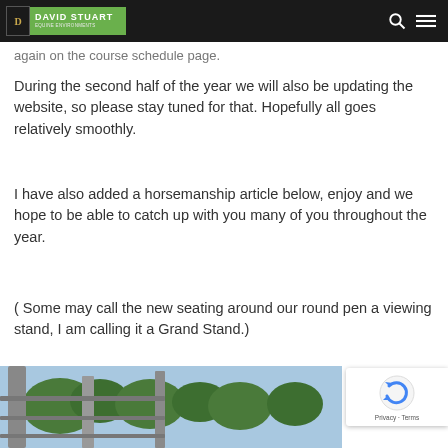DAVID STUART
again on the course schedule page.
During the second half of the year we will also be updating the website, so please stay tuned for that. Hopefully all goes relatively smoothly.
I have also added a horsemanship article below, enjoy and we hope to be able to catch up with you many of you throughout the year.
( Some may call the new seating around our round pen a viewing stand, I am calling it a Grand Stand.)
[Figure (photo): Outdoor photo showing metal gate/fence posts with trees and sky in background, appears to be a horse round pen area]